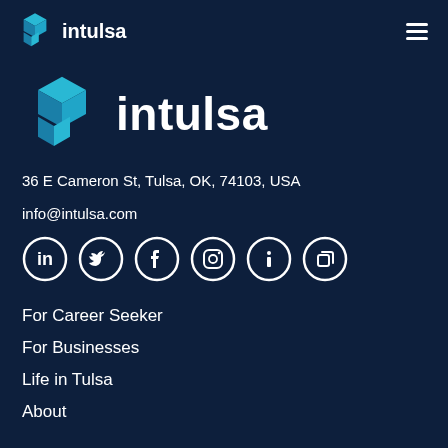intulsa
[Figure (logo): Intulsa logo with geometric cube icon and wordmark 'intulsa' in large white text on dark navy background]
36 E Cameron St, Tulsa, OK, 74103, USA
info@intulsa.com
[Figure (other): Row of six social media icons: LinkedIn, Twitter, Facebook, Instagram, and two others, white on circular outlines]
For Career Seeker
For Businesses
Life in Tulsa
About